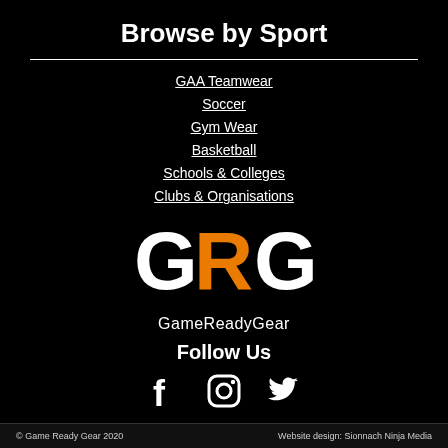Browse by Sport
GAA Teamwear
Soccer
Gym Wear
Basketball
Schools & Colleges
Clubs & Organisations
[Figure (logo): GRG GameReadyGear logo with large white G, orange R, white G letters and GameReadyGear text below]
Follow Us
[Figure (infographic): Facebook, Instagram, and Twitter social media icons in white]
© Game Ready Gear 2020   Website design: Sionnach Ninja Media